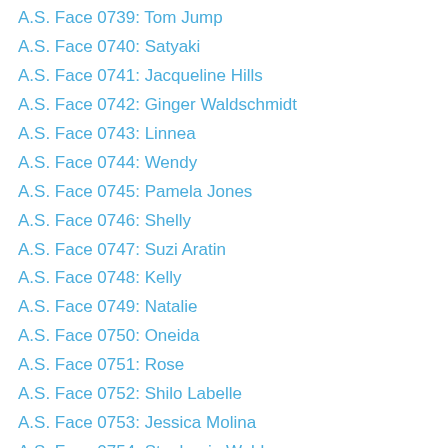A.S. Face 0739: Tom Jump
A.S. Face 0740: Satyaki
A.S. Face 0741: Jacqueline Hills
A.S. Face 0742: Ginger Waldschmidt
A.S. Face 0743: Linnea
A.S. Face 0744: Wendy
A.S. Face 0745: Pamela Jones
A.S. Face 0746: Shelly
A.S. Face 0747: Suzi Aratin
A.S. Face 0748: Kelly
A.S. Face 0749: Natalie
A.S. Face 0750: Oneida
A.S. Face 0751: Rose
A.S. Face 0752: Shilo Labelle
A.S. Face 0753: Jessica Molina
A.S. Face 0754: Stephanie Webb
A.S. Face 0755: Tina Leblanc
A.S. Face 0756: Laura Fedorowicz
A.S. Face 0757: Nikohl Failor
A.S. Face 0758: Maria Rodriguez